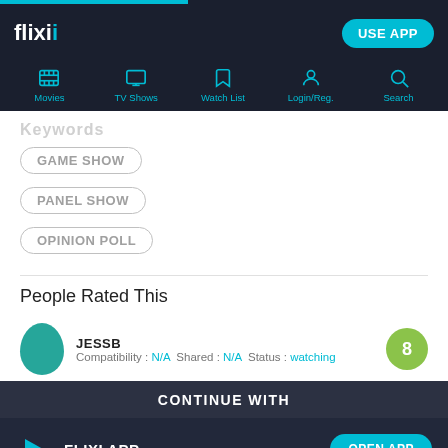flixi — USE APP
[Figure (screenshot): Navigation bar with icons: Movies, TV Shows, Watch List, Login/Reg., Search]
GAME SHOW
PANEL SHOW
OPINION POLL
People Rated This
JESSB — Compatibility: N/A  Shared: N/A  Status: watching — Score: 8
CONTINUE WITH
FLIXI APP — OPEN APP
CHROME — CONTINUE